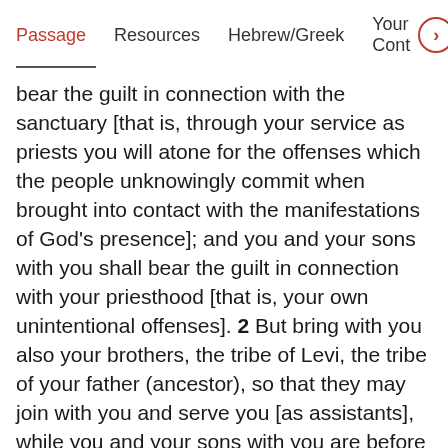Passage   Resources   Hebrew/Greek   Your Cont▶
bear the guilt in connection with the sanctuary [that is, through your service as priests you will atone for the offenses which the people unknowingly commit when brought into contact with the manifestations of God's presence]; and you and your sons with you shall bear the guilt in connection with your priesthood [that is, your own unintentional offenses]. 2 But bring with you also your brothers, the tribe of Levi, the tribe of your father (ancestor), so that they may join with you and serve you [as assistants], while you and your sons with you are before the Tent of the Testimony [the Holy Place where only priests may go, and the Most Holy Place which only the high priest may enter]. 3 And the Levites shall attend to your duty [as assistants] and to the duties of all the tent